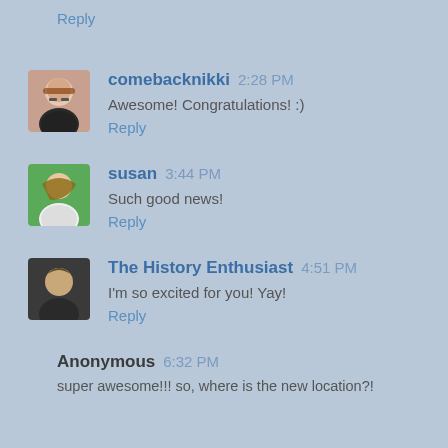Reply
comebacknikki 2:28 PM
Awesome! Congratulations! :)
Reply
susan 3:44 PM
Such good news!
Reply
The History Enthusiast 4:51 PM
I'm so excited for you! Yay!
Reply
Anonymous 6:32 PM
super awesome!!! so, where is the new location?!